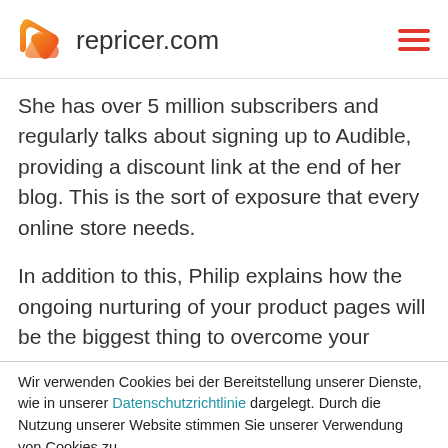repricer.com
She has over 5 million subscribers and regularly talks about signing up to Audible, providing a discount link at the end of her blog. This is the sort of exposure that every online store needs.
In addition to this, Philip explains how the ongoing nurturing of your product pages will be the biggest thing to overcome your
Wir verwenden Cookies bei der Bereitstellung unserer Dienste, wie in unserer Datenschutzrichtlinie dargelegt. Durch die Nutzung unserer Website stimmen Sie unserer Verwendung von Cookies zu.
Alle akzeptieren